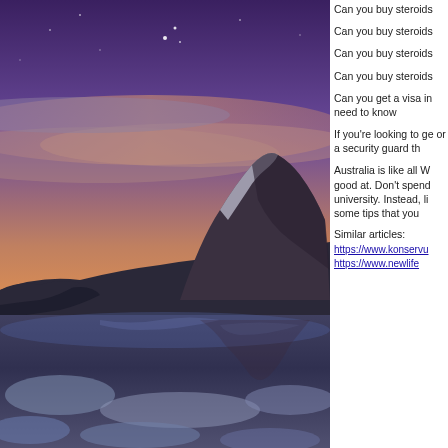[Figure (photo): Winter mountain landscape at dusk/twilight with snow-covered peaks, a frozen lake with ice in the foreground, purple/pink sky with stars, warm orange glow near the horizon, and mountain reflections in the water.]
Can you buy steroids
Can you buy steroids
Can you buy steroids
Can you buy steroids
Can you get a visa in need to know
If you're looking to ge or a security guard th
Australia is like all W good at. Don't spend university. Instead, li some tips that you
Similar articles:
https://www.konservu
https://www.newlife